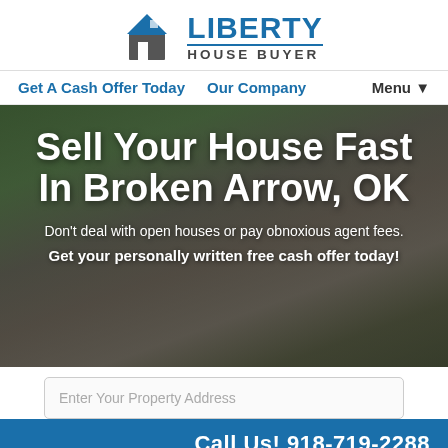[Figure (logo): Liberty House Buyer logo with house/door icon in blue and gray, company name in blue and dark gray]
Get A Cash Offer Today   Our Company   Menu ▼
[Figure (photo): Background photo of a house with trees, with dark overlay. Text overlay reads: Sell Your House Fast In Broken Arrow, OK. Don't deal with open houses or pay obnoxious agent fees. Get your personally written free cash offer today!]
Enter Your Property Address
Call Us! 918-719-2288